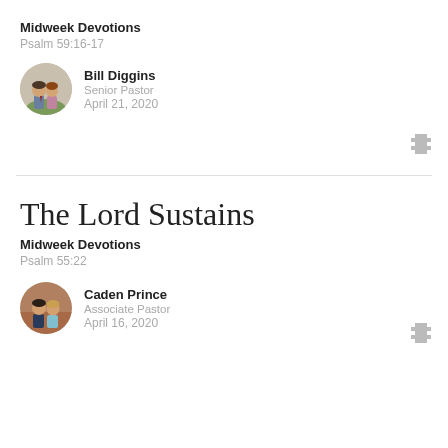Midweck Devotions
Psalm 59:16-17
Bill Diggins
Senior Pastor
April 21, 2020
[Figure (other): Film/video icon]
The Lord Sustains
Midweek Devotions
Psalm 55:22
Caden Prince
Associate Pastor
April 16, 2020
[Figure (other): Film/video icon]